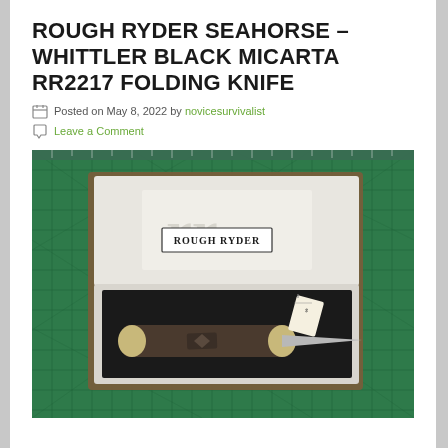ROUGH RYDER SEAHORSE – WHITTLER BLACK MICARTA RR2217 FOLDING KNIFE
Posted on May 8, 2022 by novicesurvivalist
Leave a Comment
[Figure (photo): A Rough Ryder folding knife in its white box with black interior, placed on a green cutting mat with measurement grid. The box lid shows the Rough Ryder logo and brand name. A price tag is visible on the knife.]